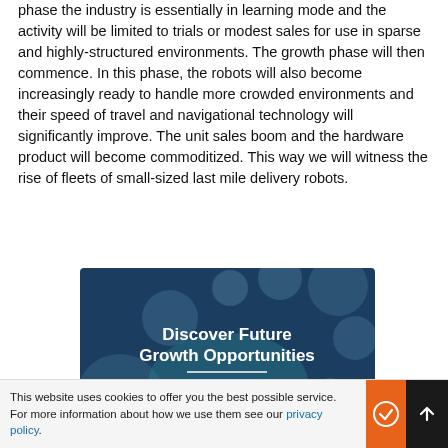phase the industry is essentially in learning mode and the activity will be limited to trials or modest sales for use in sparse and highly-structured environments. The growth phase will then commence. In this phase, the robots will also become increasingly ready to handle more crowded environments and their speed of travel and navigational technology will significantly improve. The unit sales boom and the hardware product will become commoditized. This way we will witness the rise of fleets of small-sized last mile delivery robots.
[Figure (infographic): Dark blue promotional banner with decorative grey and blue circles in the background. Text reads 'Discover Future Growth Opportunities' in bold white, a white horizontal rule, then 'Customised research to' in lighter blue text.]
This website uses cookies to offer you the best possible service. For more information about how we use them see our privacy policy.